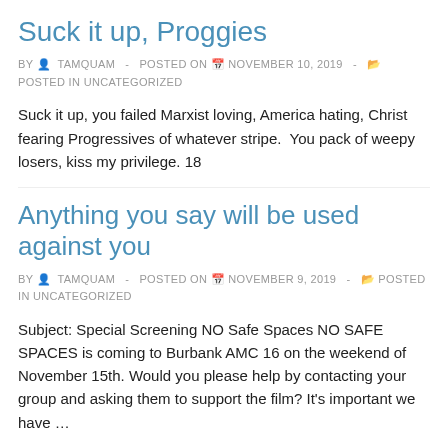Suck it up, Proggies
BY  TAMQUAM  -  POSTED ON  NOVEMBER 10, 2019  -   POSTED IN UNCATEGORIZED
Suck it up, you failed Marxist loving, America hating, Christ fearing Progressives of whatever stripe.  You pack of weepy losers, kiss my privilege. 18
Anything you say will be used against you
BY  TAMQUAM  -  POSTED ON  NOVEMBER 9, 2019  -   POSTED IN UNCATEGORIZED
Subject: Special Screening NO Safe Spaces NO SAFE SPACES is coming to Burbank AMC 16 on the weekend of November 15th. Would you please help by contacting your group and asking them to support the film? It's important we have …
Read more »